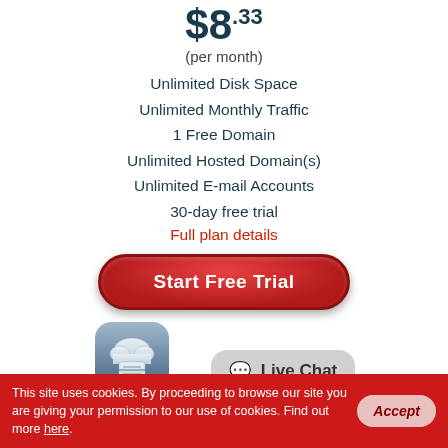$8.33
(per month)
Unlimited Disk Space
Unlimited Monthly Traffic
1 Free Domain
Unlimited Hosted Domain(s)
Unlimited E-mail Accounts
30-day free trial
Full plan details
[Figure (illustration): Red rounded button labeled 'Start Free Trial']
[Figure (illustration): Cloud/briefcase app icon (blue-gray gradient) and Live Chat speech bubble]
This site uses cookies. By proceeding to browse our site you are giving your permission to our use of cookies. Find out more here.